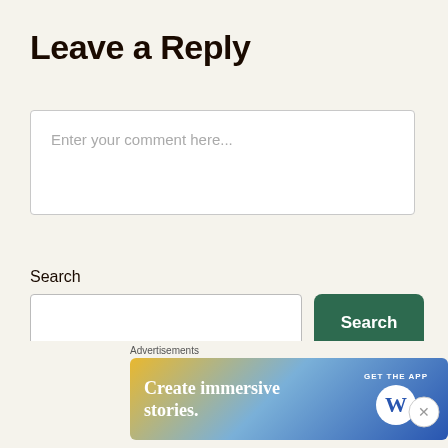Leave a Reply
Enter your comment here...
Search
Search
Recent Posts
[Figure (screenshot): WordPress advertisement banner: 'Create immersive stories. GET THE APP' with WordPress logo]
Advertisements